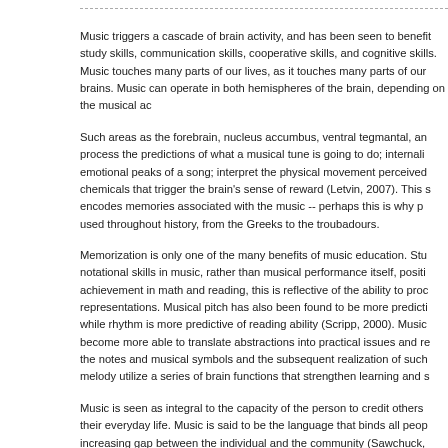Music triggers a cascade of brain activity, and has been seen to benefit study skills, communication skills, cooperative skills, and cognitive skills. Music touches many parts of our lives, as it touches many parts of our brains. Music can operate in both hemispheres of the brain, depending on the musical activity.
Such areas as the forebrain, nucleus accumbus, ventral tegmantal, and others process the predictions of what a musical tune is going to do; internalize the emotional peaks of a song; interpret the physical movement perceived, and release chemicals that trigger the brain's sense of reward (Letvin, 2007). This same area encodes memories associated with the music -- perhaps this is why poetry was used throughout history, from the Greeks to the troubadours.
Memorization is only one of the many benefits of music education. Studies show notational skills in music, rather than musical performance itself, positively predict achievement in math and reading, this is reflective of the ability to process symbolic representations. Musical pitch has also been found to be more predictive of math, while rhythm is more predictive of reading ability (Scripp, 2000). Musicians become more able to translate abstractions into practical issues and realizations, the notes and musical symbols and the subsequent realization of such in creating a melody utilize a series of brain functions that strengthen learning and skills.
Music is seen as integral to the capacity of the person to credit others' value in their everyday life. Music is said to be the language that binds all people, bridging increasing gap between the individual and the community (Sawchuck, 2006), creating sense of unity with world. The diversity of musical forms enables the exploration and appreciation of multi-cultural forms of music that thus helps to improve understanding of various forms of culture and become less concerned with the differences of ethnicity and race (Petress, 2005).